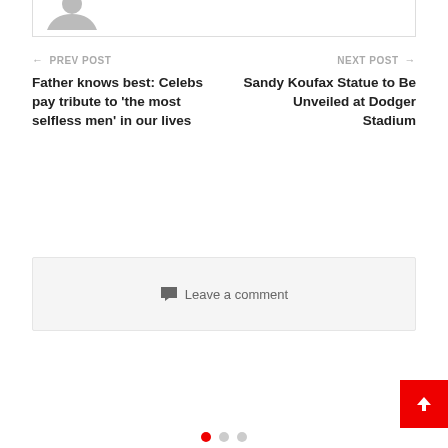[Figure (photo): Partial view of avatar/profile image placeholder at top of page]
← PREV POST
Father knows best: Celebs pay tribute to 'the most selfless men' in our lives
NEXT POST →
Sandy Koufax Statue to Be Unveiled at Dodger Stadium
💬 Leave a comment
[Figure (other): Scroll-to-top red button with white upward arrow, bottom right corner]
[Figure (other): Pagination dots: three dots, first one active (red), others grey]